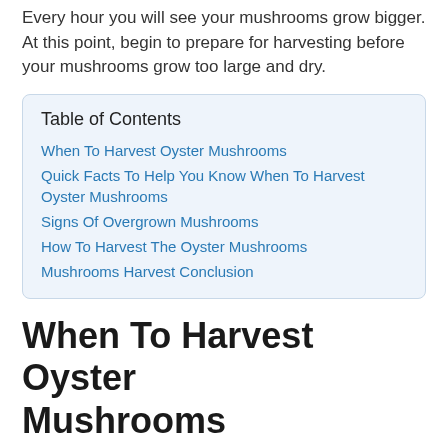Every hour you will see your mushrooms grow bigger. At this point, begin to prepare for harvesting before your mushrooms grow too large and dry.
| Table of Contents |
| --- |
| When To Harvest Oyster Mushrooms |
| Quick Facts To Help You Know When To Harvest Oyster Mushrooms |
| Signs Of Overgrown Mushrooms |
| How To Harvest The Oyster Mushrooms |
| Mushrooms Harvest Conclusion |
When To Harvest Oyster Mushrooms